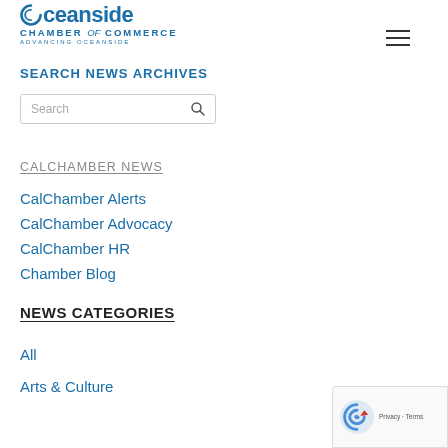[Figure (logo): Oceanside Chamber of Commerce logo with swirl icon and tagline 'Advancing Oceanside']
SEARCH NEWS ARCHIVES
[Figure (screenshot): Search input box with placeholder text 'Search' and magnifying glass icon]
CALCHAMBER NEWS
CalChamber Alerts
CalChamber Advocacy
CalChamber HR
Chamber Blog
NEWS CATEGORIES
All
Arts & Culture
[Figure (logo): Google reCAPTCHA badge in bottom right corner]